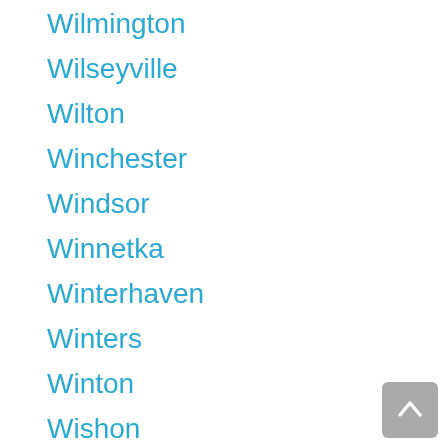Wilmington
Wilseyville
Wilton
Winchester
Windsor
Winnetka
Winterhaven
Winters
Winton
Wishon